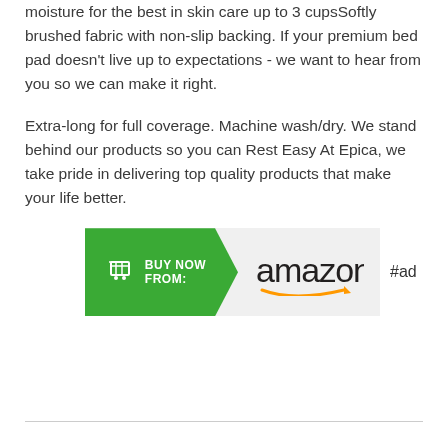moisture for the best in skin care up to 3 cupsSoftly brushed fabric with non-slip backing. If your premium bed pad doesn't live up to expectations - we want to hear from you so we can make it right.
Extra-long for full coverage. Machine wash/dry. We stand behind our products so you can Rest Easy At Epica, we take pride in delivering top quality products that make your life better.
[Figure (other): Amazon Buy Now button with green arrow containing shopping cart icon and BUY NOW FROM: text, followed by amazon logo with smile, and #ad label]